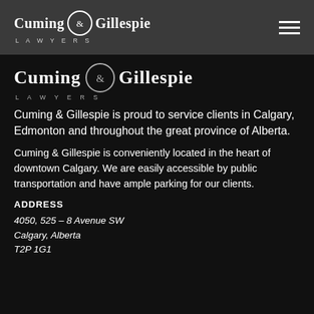Cuming & Gillespie LAWYERS
[Figure (logo): Cuming & Gillespie Lawyers logo, partially visible, cropped at top of content area]
Cuming & Gillespie is proud to service clients in Calgary, Edmonton and throughout the great province of Alberta.
Cuming & Gillespie is conveniently located in the heart of downtown Calgary. We are easily accessible by public transportation and have ample parking for our clients.
ADDRESS
4050, 525 – 8 Avenue SW
Calgary, Alberta
T2P 1G1